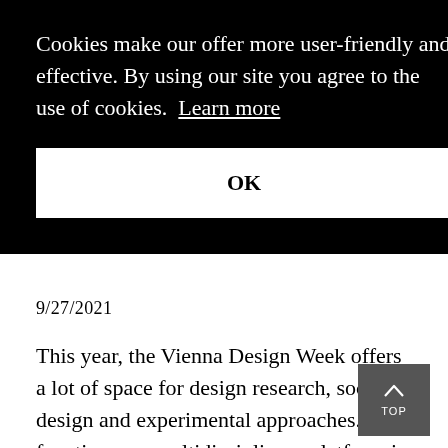Cookies make our offer more user-friendly and effective. By using our site you agree to the use of cookies. Learn more
OK
9/27/2021
This year, the Vienna Design Week offers a lot of space for design research, social design and experimental approaches. Its function as a multidisciplinary platform is underlined in numerous talks, workshops and tours. Our review.